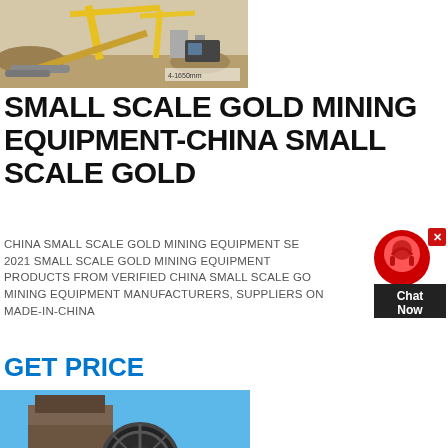[Figure (photo): Outdoor mining site with yellow crane/conveyor equipment and machinery, aerial/ground view]
SMALL SCALE GOLD MINING EQUIPMENT-CHINA SMALL SCALE GOLD
CHINA SMALL SCALE GOLD MINING EQUIPMENT SE... 2021 SMALL SCALE GOLD MINING EQUIPMENT PRODUCTS FROM VERIFIED CHINA SMALL SCALE GOLD MINING EQUIPMENT MANUFACTURERS, SUPPLIERS ON MADE-IN-CHINA
GET PRICE
[Figure (photo): Industrial mining crusher/jaw crusher machine with large flywheel, conveyor belts and support structure against blue sky]